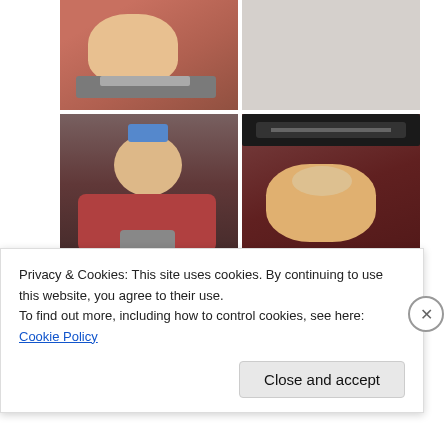[Figure (photo): Grid of four photos showing a person using a head/neck traction or therapy device. Top-left: person viewed from above with device on their head. Top-right: light gray/empty area. Bottom-left: overhead view of person with device. Bottom-right: person lying back with a black device above their head, wearing red shirt.]
Hunter
Advertisements
[Figure (screenshot): Blue advertisement banner with white horizontal line and partial white bold text reading 'AUTOMATIC' in large letters.]
Privacy & Cookies: This site uses cookies. By continuing to use this website, you agree to their use.
To find out more, including how to control cookies, see here: Cookie Policy
Close and accept